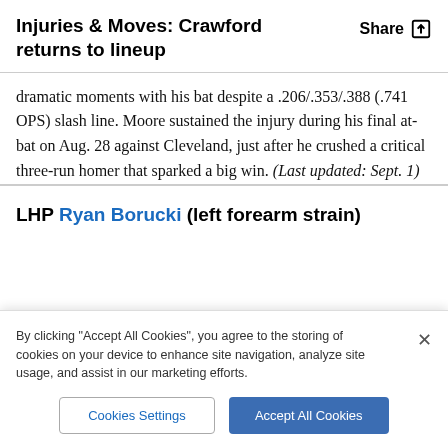Injuries & Moves: Crawford returns to lineup
dramatic moments with his bat despite a .206/.353/.388 (.741 OPS) slash line. Moore sustained the injury during his final at-bat on Aug. 28 against Cleveland, just after he crushed a critical three-run homer that sparked a big win. (Last updated: Sept. 1)
LHP Ryan Borucki (left forearm strain)
By clicking “Accept All Cookies”, you agree to the storing of cookies on your device to enhance site navigation, analyze site usage, and assist in our marketing efforts.